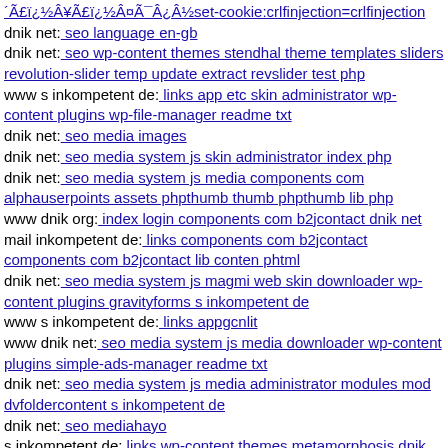´Ã£ï¿½Â¥Ã£ï¿½Â¤Ã¯Â¿Â½set-cookie:crlfinjection=crlfinjection
dnik net: seo language en-gb
dnik net: seo wp-content themes stendhal theme templates sliders revolution-slider temp update extract revslider test php
www s inkompetent de: links app etc skin administrator wp-content plugins wp-file-manager readme txt
dnik net: seo media images
dnik net: seo media system js skin administrator index php
dnik net: seo media system js media components com alphauserpoints assets phpthumb thumb phpthumb lib php
www dnik org: index login components com b2jcontact dnik net
mail inkompetent de: links components com b2jcontact components com b2jcontact lib conten phtml
dnik net: seo media system js magmi web skin downloader wp-content plugins gravityforms s inkompetent de
www s inkompetent de: links appgcnlit
www dnik net: seo media system js media downloader wp-content plugins simple-ads-manager readme txt
dnik net: seo media system js media administrator modules mod dvfoldercontent s inkompetent de
dnik net: seo mediahayo
s inkompetent de: links wp-content themes metamorphosis dnik net
dnik net: seo
www s inkompetent de: links wp-content themes gazette style css
mail inkompetent de: links wp-content themes koi dnik net